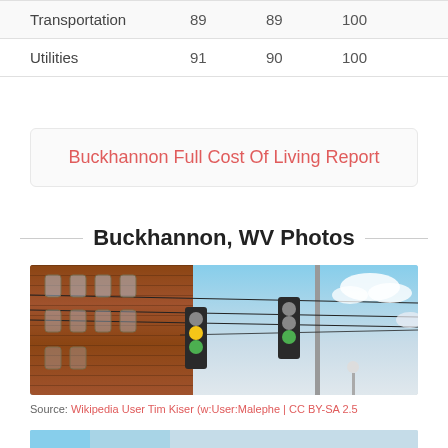| Transportation | 89 | 89 | 100 |
| Utilities | 91 | 90 | 100 |
Buckhannon Full Cost Of Living Report
Buckhannon, WV Photos
[Figure (photo): Street-level photo of Buckhannon WV showing a historic brick building on the left with arched windows, traffic lights hanging overhead on wires, a utility pole, and a partly cloudy sky.]
Source: Wikipedia User Tim Kiser (w:User:Malephe | CC BY-SA 2.5
[Figure (photo): Partial photo at bottom of page, appears to show a sky or outdoor scene.]